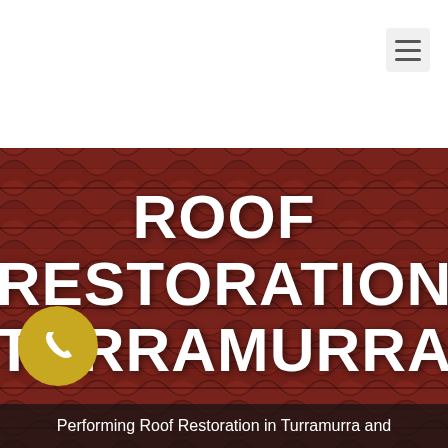[Figure (logo): Roofling logo: stylized roofer figure on a yellow triangular roof shape with 'ROOFLING' text in bold yellow italic font]
[Figure (photo): Close-up aerial photograph of dark reddish-brown terracotta roof tiles in a repeating wave pattern]
ROOF RESTORATION TURRAMURRA
[Figure (infographic): Gold circular phone call button with white telephone handset icon]
Performing Roof Restoration in Turramurra and